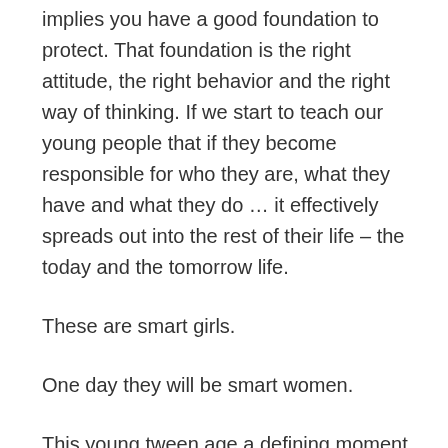implies you have a good foundation to protect. That foundation is the right attitude, the right behavior and the right way of thinking. If we start to teach our young people that if they become responsible for who they are, what they have and what they do … it effectively spreads out into the rest of their life – the today and the tomorrow life.
These are smart girls.
One day they will be smart women.
This young tween age a defining moment,